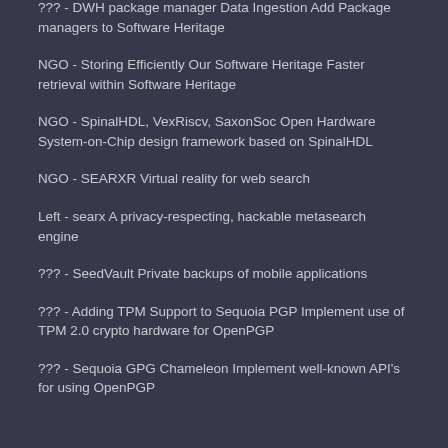??? - DWH package manager Data Ingestion Add Package managers to Software Heritage
NGO - Storing Efficiently Our Software Heritage Faster retrieval within Software Heritage
NGO - SpinalHDL, VexRiscv, SaxonSoc Open Hardware System-on-Chip design framework based on SpinalHDL
NGO - SEARXR Virtual reality for web search
Left - searx A privacy-respecting, hackable metasearch engine
??? - SeedVault Private backups of mobile applications
??? - Adding TPM Support to Sequoia PGP Implement use of TPM 2.0 crypto hardware for OpenPGP
??? - Sequoia GPG Chameleon Implement well-known API's for using OpenPGP